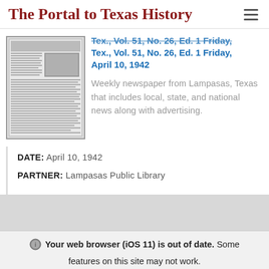The Portal to Texas History
[Figure (photo): Thumbnail image of newspaper front page, black and white, showing columns of text]
Tex., Vol. 51, No. 26, Ed. 1 Friday, April 10, 1942
Weekly newspaper from Lampasas, Texas that includes local, state, and national news along with advertising.
DATE: April 10, 1942
PARTNER: Lampasas Public Library
Your web browser (iOS 11) is out of date. Some features on this site may not work.
Update browser
Ignore